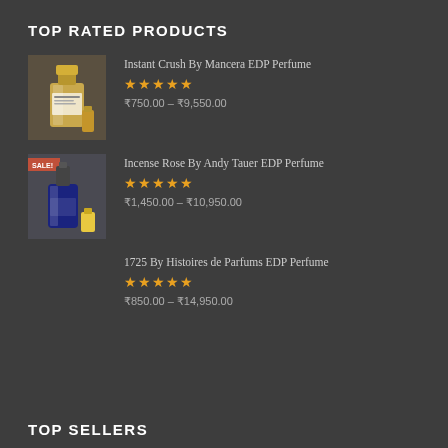TOP RATED PRODUCTS
Instant Crush By Mancera EDP Perfume — ★★★★★ — ₹750.00 – ₹9,550.00
Incense Rose By Andy Tauer EDP Perfume — ★★★★★ — ₹1,450.00 – ₹10,950.00
1725 By Histoires de Parfums EDP Perfume — ★★★★★ — ₹850.00 – ₹14,950.00
TOP SELLERS